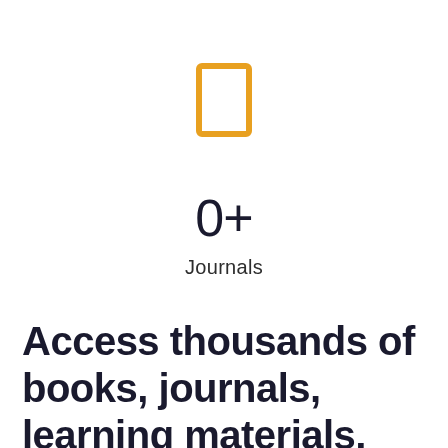[Figure (illustration): Orange outlined rectangle icon representing a journal or book]
0+
Journals
Access thousands of books, journals, learning materials, articles and much more.